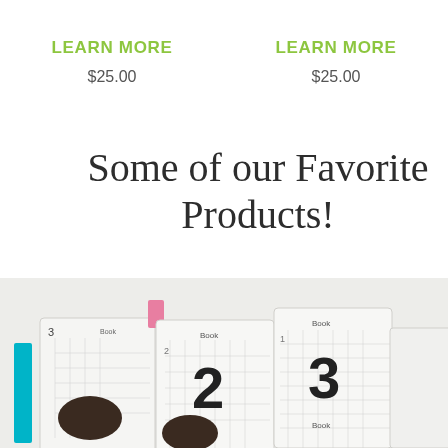LEARN MORE
LEARN MORE
$25.00
$25.00
Some of our Favorite Products!
[Figure (photo): Photo of children's counting books labeled Book 1, Book 2, Book 3, fanned out showing colorful tabs and number illustrations]